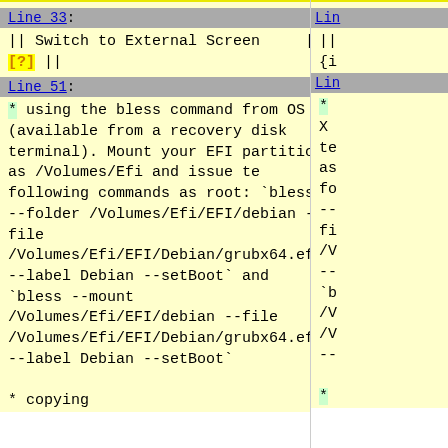Line 33:
|| Switch to External Screen     ||
[?] ||
Line 51:
* using the bless command from OS X (available from a recovery disk terminal). Mount your EFI partition as /Volumes/Efi and issue te following commands as root: `bless --folder /Volumes/Efi/EFI/debian -- file /Volumes/Efi/EFI/Debian/grubx64.efi --label Debian --setBoot` and `bless --mount /Volumes/Efi/EFI/debian --file /Volumes/Efi/EFI/Debian/grubx64.efi --label Debian --setBoot`
* copying